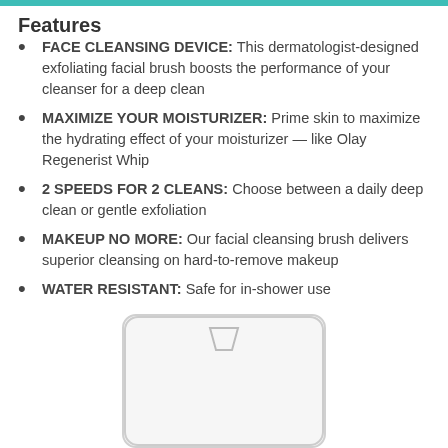Features
FACE CLEANSING DEVICE: This dermatologist-designed exfoliating facial brush boosts the performance of your cleanser for a deep clean
MAXIMIZE YOUR MOISTURIZER: Prime skin to maximize the hydrating effect of your moisturizer — like Olay Regenerist Whip
2 SPEEDS FOR 2 CLEANS: Choose between a daily deep clean or gentle exfoliation
MAKEUP NO MORE: Our facial cleansing brush delivers superior cleansing on hard-to-remove makeup
WATER RESISTANT: Safe for in-shower use
[Figure (photo): Product packaging for an oil control facial cleansing device, shown in a clear plastic clamshell case with a hanger hole, displaying red text 'OIL CONTROL ON THE GO']